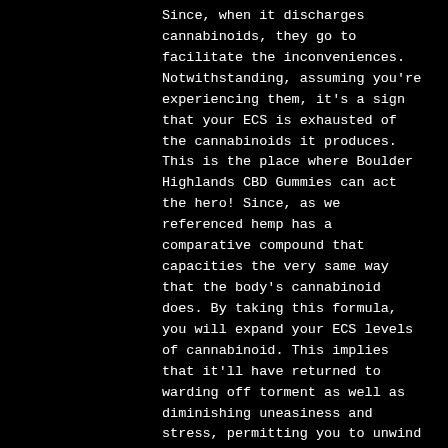Since, when it discharges cannabinoids, they go to facilitate the inconveniences. Notwithstanding, assuming you're experiencing them, it's a sign that your ECS is exhausted of the cannabinoids it produces. This is the place where Boulder Highlands CBD Gummies can act the hero! Since, as we referenced hemp has a comparative compound that capacities the very same way that the body's cannabinoid does. By taking this formula, you will expand your ECS levels of cannabinoid. This implies that it'll have returned to warding off torment as well as diminishing uneasiness and stress, permitting you to unwind and empowering rest! By utilizing Boulder Highlands CBD Gummies, you're supporting your body to recuperate from the inside! Release distress in a characteristic and solid manner today by utilizing CBD!